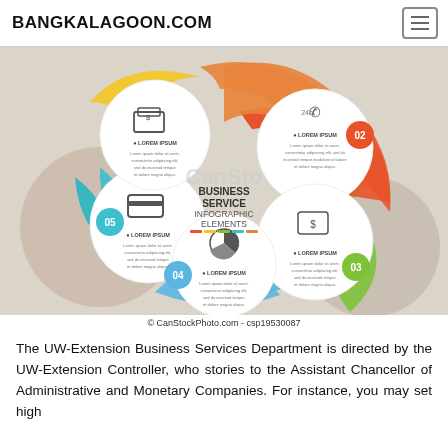BANGKALAGOON.COM
[Figure (infographic): Business Service Infographic Elements with 5 circular segments labeled 01-05 (orange, green, teal, light blue, yellow) each containing a Lorem Ipsum text block and an icon. Center reads 'BUSINESS SERVICE INFOGRAPHIC ELEMENTS'. CanStock watermark visible.]
© CanStockPhoto.com - csp19530087
The UW-Extension Business Services Department is directed by the UW-Extension Controller, who stories to the Assistant Chancellor of Administrative and Monetary Companies. For instance, you may set high